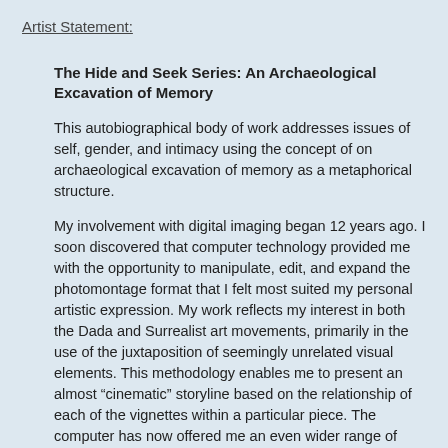Artist Statement:
The Hide and Seek Series: An Archaeological Excavation of Memory
This autobiographical body of work addresses issues of self, gender, and intimacy using the concept of on archaeological excavation of memory as a metaphorical structure.
My involvement with digital imaging began 12 years ago. I soon discovered that computer technology provided me with the opportunity to manipulate, edit, and expand the photomontage format that I felt most suited my personal artistic expression. My work reflects my interest in both the Dada and Surrealist art movements, primarily in the use of the juxtaposition of seemingly unrelated visual elements. This methodology enables me to present an almost “cinematic” storyline based on the relationship of each of the vignettes within a particular piece. The computer has now offered me an even wider range of possibilities within the